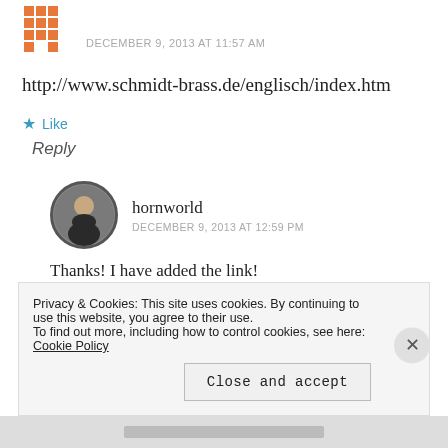[Figure (logo): Orange pixel/grid avatar icon]
DECEMBER 9, 2013 AT 11:57 AM
http://www.schmidt-brass.de/englisch/index.htm
★ Like
Reply
[Figure (photo): Circular avatar photo of a person]
hornworld
DECEMBER 9, 2013 AT 12:59 PM
Thanks! I have added the link!
★ Like
Privacy & Cookies: This site uses cookies. By continuing to use this website, you agree to their use.
To find out more, including how to control cookies, see here: Cookie Policy
Close and accept